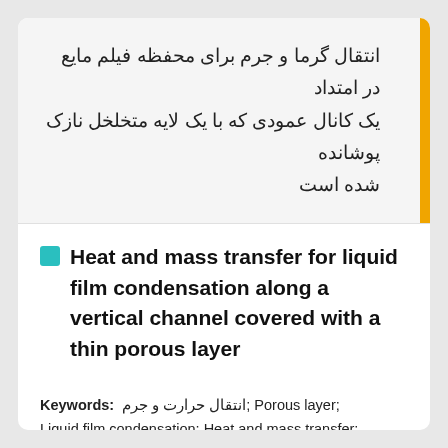انتقال گرما و جرم برای محفظه فیلم مایع در امتداد یک کانال عمودی که با یک لایه متخلخل نازک پوشانده شده است
Heat and mass transfer for liquid film condensation along a vertical channel covered with a thin porous layer
Keywords: انتقال حرارت و جرم; Porous layer; Liquid film condensation; Heat and mass transfer; Vertical channel;